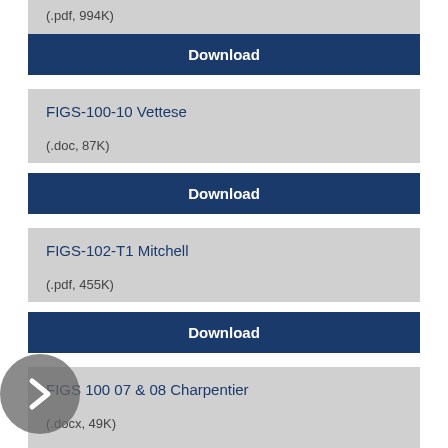(.pdf, 994K)
Download
FIGS-100-10 Vettese
(.doc, 87K)
Download
FIGS-102-T1 Mitchell
(.pdf, 455K)
Download
FIGS 100 07 & 08 Charpentier
(.docx, 49K)